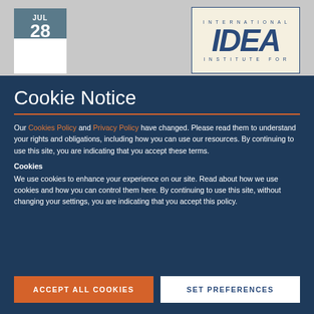JUL 28 2022
[Figure (logo): International IDEA – Institute For Democracy and Electoral Assistance logo, blue text on cream background with blue border]
Cookie Notice
Our Cookies Policy and Privacy Policy have changed. Please read them to understand your rights and obligations, including how you can use our resources. By continuing to use this site, you are indicating that you accept these terms.
Cookies
We use cookies to enhance your experience on our site. Read about how we use cookies and how you can control them here. By continuing to use this site, without changing your settings, you are indicating that you accept this policy.
ACCEPT ALL COOKIES
SET PREFERENCES